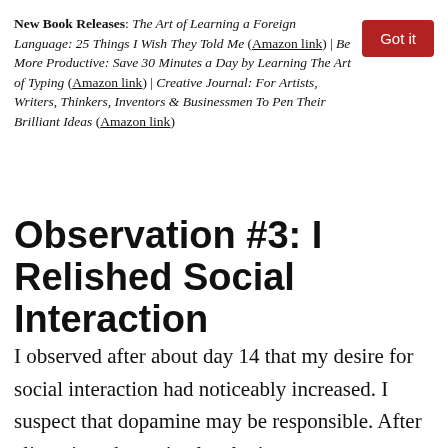New Book Releases: The Art of Learning a Foreign Language: 25 Things I Wish They Told Me (Amazon link) | Be More Productive: Save 30 Minutes a Day by Learning The Art of Typing (Amazon link) | Creative Journal: For Artists, Writers, Thinkers, Inventors & Businessmen To Pen Their Brilliant Ideas (Amazon link)
Observation #3: I Relished Social Interaction
I observed after about day 14 that my desire for social interaction had noticeably increased. I suspect that dopamine may be responsible. After climaxing, dopamine levels rise